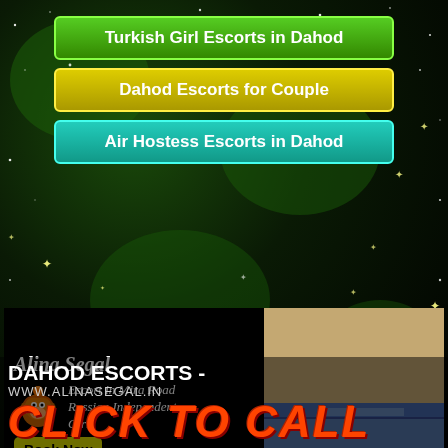Turkish Girl Escorts in Dahod
Dahod Escorts for Couple
Air Hostess Escorts in Dahod
[Figure (illustration): Advertisement banner with monkey logo, text about Alina Segal escort in Mira Road, Book Now button, and a photo of a person's midriff in denim shorts]
DAHOD ESCORTS - WWW.ALINASEGAL.IN
CLICK TO CALL